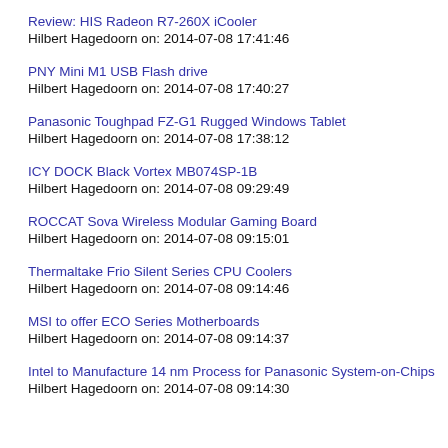Review: HIS Radeon R7-260X iCooler
Hilbert Hagedoorn on: 2014-07-08 17:41:46
PNY Mini M1 USB Flash drive
Hilbert Hagedoorn on: 2014-07-08 17:40:27
Panasonic Toughpad FZ-G1 Rugged Windows Tablet
Hilbert Hagedoorn on: 2014-07-08 17:38:12
ICY DOCK Black Vortex MB074SP-1B
Hilbert Hagedoorn on: 2014-07-08 09:29:49
ROCCAT Sova Wireless Modular Gaming Board
Hilbert Hagedoorn on: 2014-07-08 09:15:01
Thermaltake Frio Silent Series CPU Coolers
Hilbert Hagedoorn on: 2014-07-08 09:14:46
MSI to offer ECO Series Motherboards
Hilbert Hagedoorn on: 2014-07-08 09:14:37
Intel to Manufacture 14 nm Process for Panasonic System-on-Chips
Hilbert Hagedoorn on: 2014-07-08 09:14:30